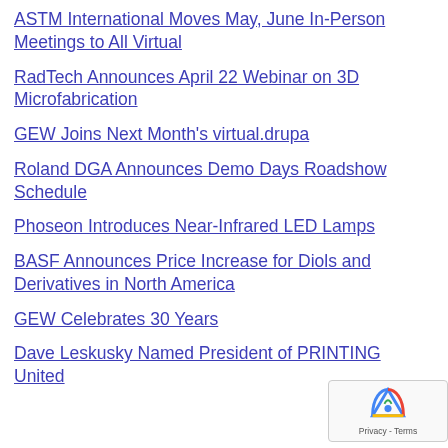ASTM International Moves May, June In-Person Meetings to All Virtual
RadTech Announces April 22 Webinar on 3D Microfabrication
GEW Joins Next Month's virtual.drupa
Roland DGA Announces Demo Days Roadshow Schedule
Phoseon Introduces Near-Infrared LED Lamps
BASF Announces Price Increase for Diols and Derivatives in North America
GEW Celebrates 30 Years
Dave Leskusky Named President of PRINTING United All